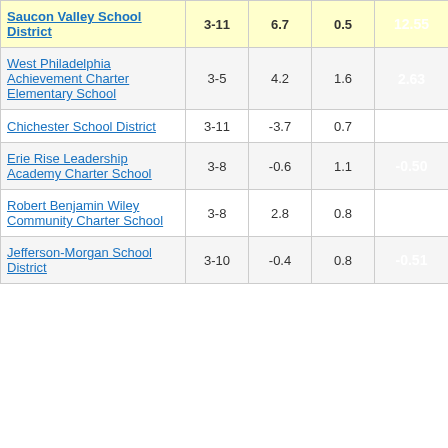| School/District | Grades | Col3 | Col4 | Score |
| --- | --- | --- | --- | --- |
| Saucon Valley School District | 3-11 | 6.7 | 0.5 | 12.55 |
| West Philadelphia Achievement Charter Elementary School | 3-5 | 4.2 | 1.6 | 2.63 |
| Chichester School District | 3-11 | -3.7 | 0.7 | -5.34 |
| Erie Rise Leadership Academy Charter School | 3-8 | -0.6 | 1.1 | -0.50 |
| Robert Benjamin Wiley Community Charter School | 3-8 | 2.8 | 0.8 | 3.35 |
| Jefferson-Morgan School District | 3-10 | -0.4 | 0.8 | -0.51 |